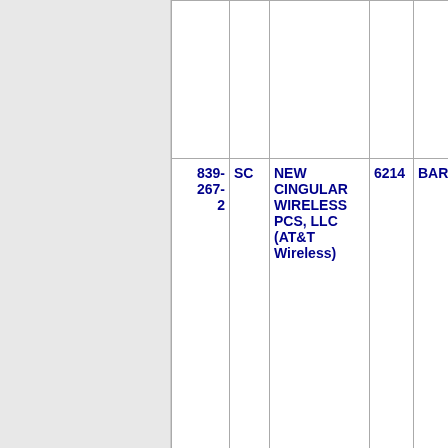| Phone | State | Carrier | ZIP | City |
| --- | --- | --- | --- | --- |
| 839-267-2 | SC | NEW CINGULAR WIRELESS PCS, LLC (AT&T Wireless) | 6214 | BARNWE... |
| 839-267-3 | SC | NEW CINGULAR WIRELESS PCS, LLC (AT&T Wireless) | 6214 | BARNWE... |